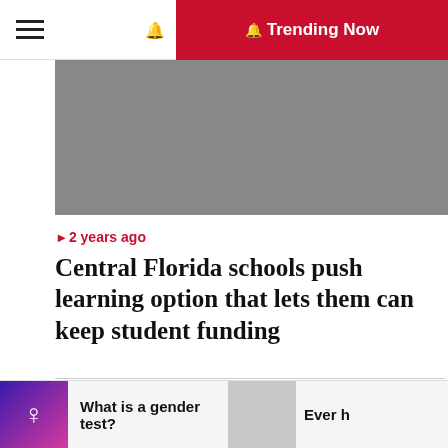≡  Trending Now
[Figure (photo): Gray placeholder image banner at top of article]
🔔 2 years ago
Central Florida schools push learning option that lets them can keep student funding
[Figure (photo): Gray placeholder image for second article]
What is a gender test?  |  Ever h